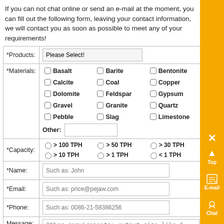If you can not chat online or send an e-mail at the moment, you can fill out the following form, leaving your contact information, we will contact you as soon as possible to meet any of your requirements!
| Field | Value |
| --- | --- |
| *Products: | Please Select! (dropdown) |
| *Materials: | Basalt, Barite, Bentonite, Calcite, Coal, Copper, Dolomite, Feldspar, Gypsum, Gravel, Granite, Quartz, Pebble, Slag, Limestone, Other (text input) |
| *Capacity: | > 100 TPH, > 50 TPH, > 30 TPH, > 10 TPH, > 1 TPH, < 1 TPH |
| *Name: | Such as: John |
| *Email: | Such as: price@pejaw.com |
| *Phone: | Such as: 0086-21-58386256 |
| Message: | Other requirements: output size like 0-10,10-15, 15-20 mm for crushing or 75 microns ( 200 meshes) for |